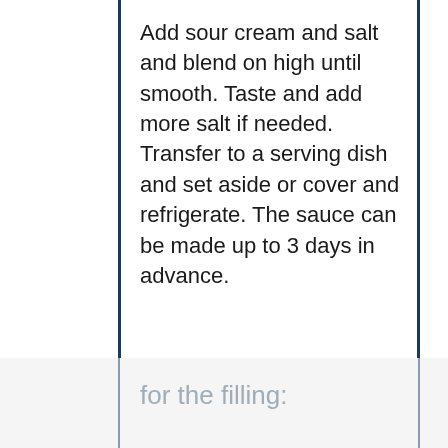Add sour cream and salt and blend on high until smooth. Taste and add more salt if needed. Transfer to a serving dish and set aside or cover and refrigerate. The sauce can be made up to 3 days in advance.
for the filling: